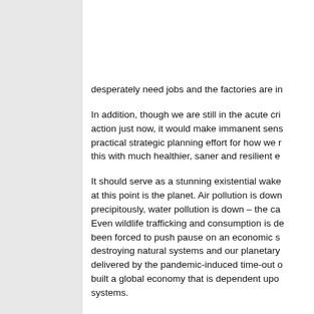desperately need jobs and the factories are in…
In addition, though we are still in the acute cri… action just now, it would make immanent sens… practical strategic planning effort for how we r… this with much healthier, saner and resilient e…
It should serve as a stunning existential wake… at this point is the planet. Air pollution is down… precipitously, water pollution is down – the ca… Even wildlife trafficking and consumption is de… been forced to push pause on an economic s… destroying natural systems and our planetary… delivered by the pandemic-induced time-out o… built a global economy that is dependent upo… systems.
The Coronavirus is the most immediate, but i… bigger issue, and far greater challenge and o… reveals about our fundamentally unsustainab… system. If we really open up to taking a hard l… from crisis to evolution.
As nations begin to think through how to ramp… pandemic we will likely hear the dangerous b…